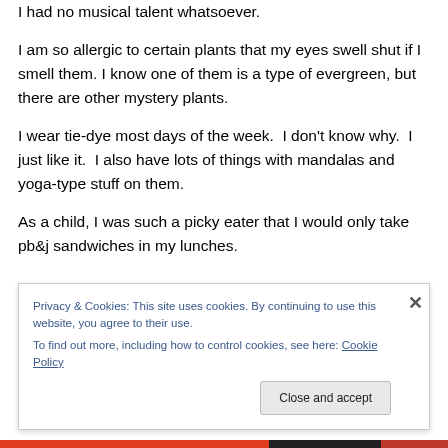I had no musical talent whatsoever.
I am so allergic to certain plants that my eyes swell shut if I smell them. I know one of them is a type of evergreen, but there are other mystery plants.
I wear tie-dye most days of the week.  I don't know why.  I just like it.  I also have lots of things with mandalas and yoga-type stuff on them.
As a child, I was such a picky eater that I would only take pb&j sandwiches in my lunches.
Privacy & Cookies: This site uses cookies. By continuing to use this website, you agree to their use.
To find out more, including how to control cookies, see here: Cookie Policy
Close and accept